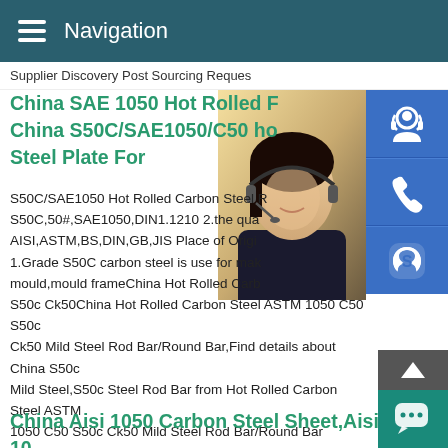Navigation
Supplier Discovery Post Sourcing Reques
China SAE 1050 Hot Rolled F China S50C/SAE1050/C50 ho Steel Plate For
S50C/SAE1050 Hot Rolled Carbon Steel R S50C,50#,SAE1050,DIN1.1210 2.the qua AISI,ASTM,BS,DIN,GB,JIS Place of Origi MANUAL SE QUOTING O Email: bsteel1@163.com 1.Grade S50C carbon steel is use for mak mould,mould frameChina Hot Rolled Carb S50c Ck50China Hot Rolled Carbon Steel ASTM 1050 C50 S50c Ck50 Mild Steel Rod Bar/Round Bar,Find details about China S50c Mild Steel,S50c Steel Rod Bar from Hot Rolled Carbon Steel ASTM 1050 C50 S50c Ck50 Mild Steel Rod Bar/Round Bar
China Aisi 1050 Carbon Steel Sheet,Aisi 10 Carbon Steel